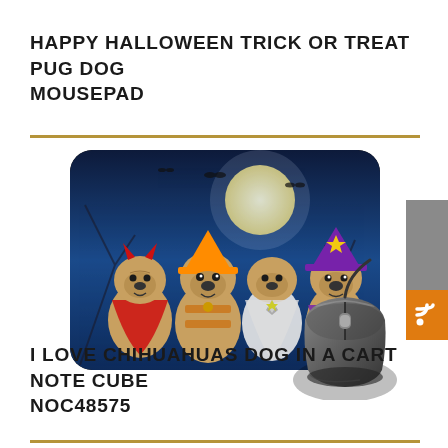HAPPY HALLOWEEN TRICK OR TREAT PUG DOG MOUSEPAD
[Figure (photo): A mousepad featuring four pug dogs dressed in Halloween costumes (devil, witch hat, ghost, witch) against a spooky blue moonlit background, with a computer mouse placed on top of the mousepad.]
I LOVE CHIHUAHUAS DOG IN A CART NOTE CUBE NOC48575